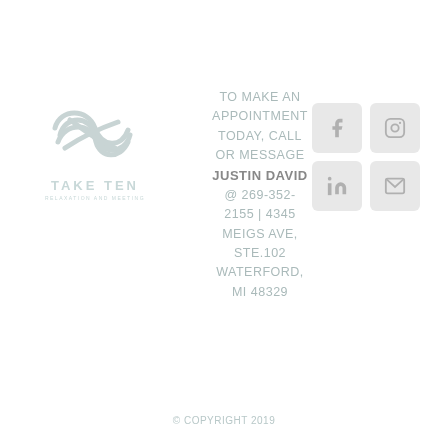[Figure (logo): Take Ten logo with interlocking swoosh/wave graphic and text TAKE TEN below, with tagline]
TO MAKE AN APPOINTMENT TODAY, CALL OR MESSAGE JUSTIN DAVID @ 269-352-2155 | 4345 MEIGS AVE, STE.102 WATERFORD, MI 48329
[Figure (infographic): 2x2 grid of social media icon buttons: Facebook (f), Instagram (camera), LinkedIn (in), Email (envelope)]
© COPYRIGHT 2019